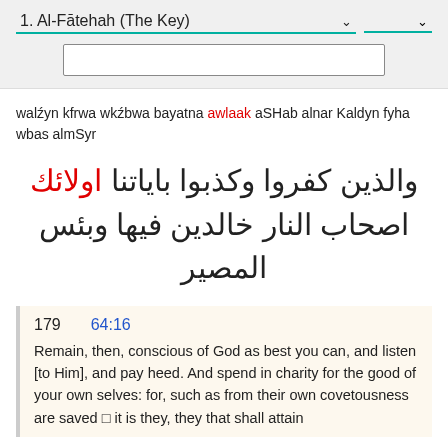1. Al-Fātehah (The Key)
walźyn kfrwa wkźbwa bayatna awlaak aSHab alnar Kaldyn fyha wbas almSyr
والذين كفروا وكذبوا باياتنا اولائك اصحاب النار خالدين فيها وبئس المصير
179   64:16
Remain, then, conscious of God as best you can, and listen [to Him], and pay heed. And spend in charity for the good of your own selves: for, such as from their own covetousness are saved — it is they, they that shall attain